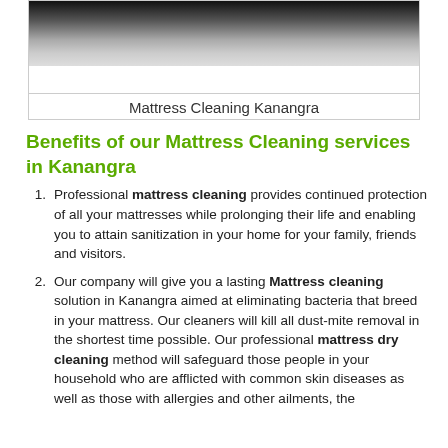[Figure (photo): Mattress cleaning image showing a white mattress surface with dark background at top]
Mattress Cleaning Kanangra
Benefits of our Mattress Cleaning services in Kanangra
Professional mattress cleaning provides continued protection of all your mattresses while prolonging their life and enabling you to attain sanitization in your home for your family, friends and visitors.
Our company will give you a lasting Mattress cleaning solution in Kanangra aimed at eliminating bacteria that breed in your mattress. Our cleaners will kill all dust-mite removal in the shortest time possible. Our professional mattress dry cleaning method will safeguard those people in your household who are afflicted with common skin diseases as well as those with allergies and other ailments, the